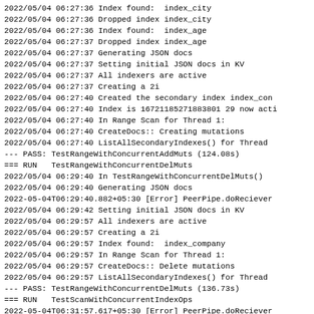2022/05/04 06:27:36 Index found:  index_city
2022/05/04 06:27:36 Dropped index index_city
2022/05/04 06:27:36 Index found:  index_age
2022/05/04 06:27:37 Dropped index index_age
2022/05/04 06:27:37 Generating JSON docs
2022/05/04 06:27:37 Setting initial JSON docs in KV
2022/05/04 06:27:37 All indexers are active
2022/05/04 06:27:37 Creating a 2i
2022/05/04 06:27:40 Created the secondary index index_con
2022/05/04 06:27:40 Index is 16721185271883801 29 now acti
2022/05/04 06:27:40 In Range Scan for Thread 1:
2022/05/04 06:27:40 CreateDocs:: Creating mutations
2022/05/04 06:27:40 ListAllSecondaryIndexes() for Thread
--- PASS: TestRangeWithConcurrentAddMuts (124.08s)
=== RUN   TestRangeWithConcurrentDelMuts
2022/05/04 06:29:40 In TestRangeWithConcurrentDelMuts()
2022/05/04 06:29:40 Generating JSON docs
2022-05-04T06:29:40.882+05:30 [Error] PeerPipe.doReciever
2022/05/04 06:29:42 Setting initial JSON docs in KV
2022/05/04 06:29:57 All indexers are active
2022/05/04 06:29:57 Creating a 2i
2022/05/04 06:29:57 Index found:  index_company
2022/05/04 06:29:57 In Range Scan for Thread 1:
2022/05/04 06:29:57 CreateDocs:: Delete mutations
2022/05/04 06:29:57 ListAllSecondaryIndexes() for Thread
--- PASS: TestRangeWithConcurrentDelMuts (136.73s)
=== RUN   TestScanWithConcurrentIndexOps
2022-05-04T06:31:57.617+05:30 [Error] PeerPipe.doReciever
2022/05/04 06:31:57 In TestScanWithConcurrentIndexOps()
2022/05/04 06:31:57 Generating JSON docs